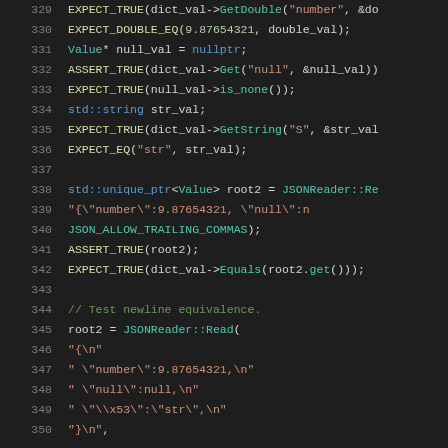[Figure (screenshot): Source code viewer showing C++ unit test code, lines 329-350, with syntax highlighting on a dark background. Colors: line numbers in gray, macro names in yellow/green, types in teal, string literals in orange, numeric literals in light green, comments in green, keywords in purple.]